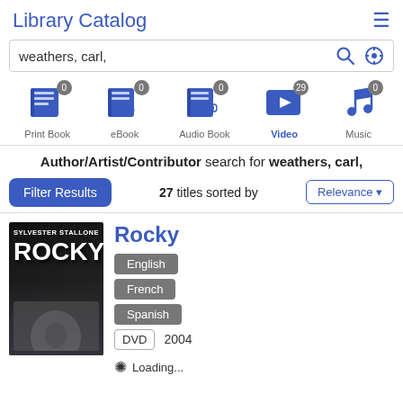Library Catalog
weathers, carl,
[Figure (infographic): Media type filter icons: Print Book (0), eBook (0), Audio Book (0), Video (29, active/selected), Music (0)]
Author/Artist/Contributor search for weathers, carl,
27 titles sorted by Relevance
Rocky
[Figure (photo): Rocky movie DVD cover showing Sylvester Stallone with text SYLVESTER STALLONE and ROCKY in large letters]
English
French
Spanish
DVD  2004
Loading...